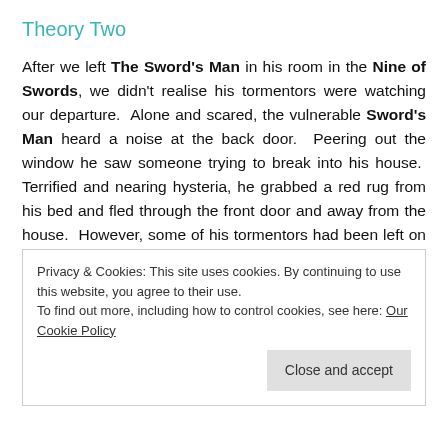Theory Two
After we left The Sword's Man in his room in the Nine of Swords, we didn't realise his tormentors were watching our departure.  Alone and scared, the vulnerable Sword's Man heard a noise at the back door.  Peering out the window he saw someone trying to break into his house.  Terrified and nearing hysteria, he grabbed a red rug from his bed and fled through the front door and away from the house.  However, some of his tormentors had been left on guard at the front and saw him disappear down the street in the direction of the shoreline.  They called to the others and shared the
Privacy & Cookies: This site uses cookies. By continuing to use this website, you agree to their use.
To find out more, including how to control cookies, see here: Our Cookie Policy